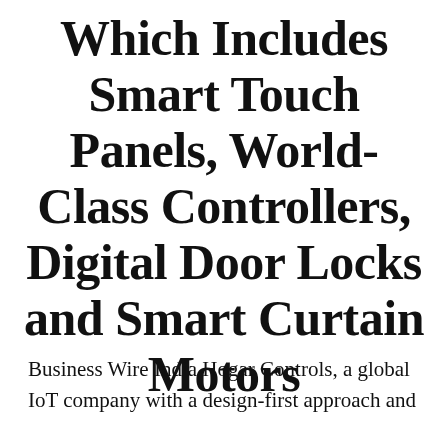Which Includes Smart Touch Panels, World-Class Controllers, Digital Door Locks and Smart Curtain Motors
Business Wire India Hogar Controls, a global IoT company with a design-first approach and